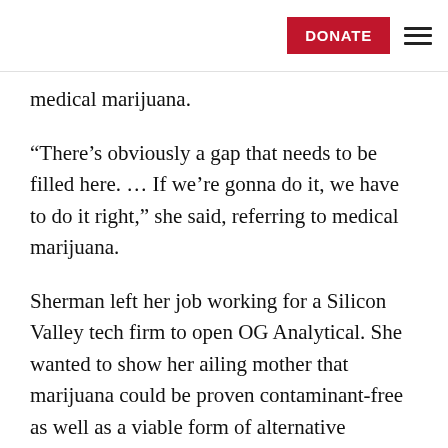DONATE
medical marijuana.
“There’s obviously a gap that needs to be filled here. … If we’re gonna do it, we have to do it right,” she said, referring to medical marijuana.
Sherman left her job working for a Silicon Valley tech firm to open OG Analytical. She wanted to show her ailing mother that marijuana could be proven contaminant-free as well as a viable form of alternative medicine.